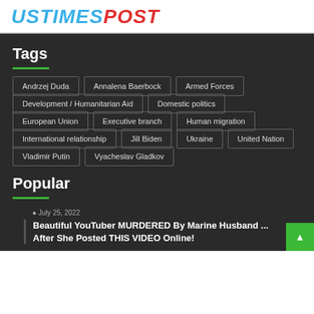USTIMESPOST
Tags
Andrzej Duda
Annalena Baerbock
Armed Forces
Development / Humanitarian Aid
Domestic politics
European Union
Executive branch
Human migration
International relationship
Jill Biden
Ukraine
United Nation
Vladimir Putin
Vyacheslav Gladkov
Popular
July 25, 2022
Beautiful YouTuber MURDERED By Marine Husband ... After She Posted THIS VIDEO Online!